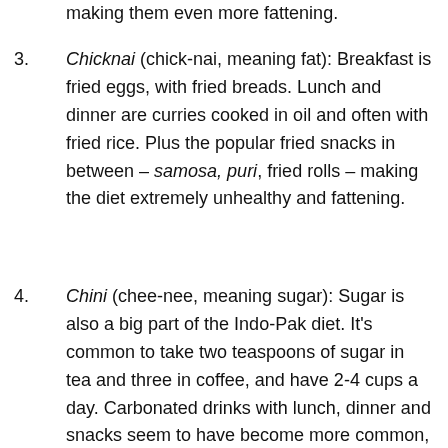Chicknai (chick-nai, meaning fat): Breakfast is fried eggs, with fried breads. Lunch and dinner are curries cooked in oil and often with fried rice. Plus the popular fried snacks in between – samosa, puri, fried rolls – making the diet extremely unhealthy and fattening.
Chini (chee-nee, meaning sugar): Sugar is also a big part of the Indo-Pak diet. It's common to take two teaspoons of sugar in tea and three in coffee, and have 2-4 cups a day. Carbonated drinks with lunch, dinner and snacks seem to have become more common, particularly with the younger generation. Then there's the mithai (desserts) that's often considered an essential part of any party. The popular deep fried jalebi and gulab jaman are probably the mothers of all evils that combine white carbs, sugar and oil.